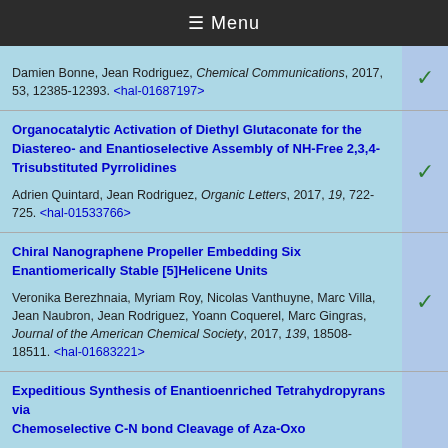☰ Menu
Damien Bonne, Jean Rodriguez, Chemical Communications, 2017, 53, 12385-12393. <hal-01687197>
Organocatalytic Activation of Diethyl Glutaconate for the Diastereo- and Enantioselective Assembly of NH-Free 2,3,4-Trisubstituted Pyrrolidines

Adrien Quintard, Jean Rodriguez, Organic Letters, 2017, 19, 722-725. <hal-01533766>
Chiral Nanographene Propeller Embedding Six Enantiomerically Stable [5]Helicene Units

Veronika Berezhnaia, Myriam Roy, Nicolas Vanthuyne, Marc Villa, Jean Naubron, Jean Rodriguez, Yoann Coquerel, Marc Gingras, Journal of the American Chemical Society, 2017, 139, 18508-18511. <hal-01683221>
Expeditious Synthesis of Enantioenriched Tetrahydropyrans via Chemoselective C-N bond Cleavage of Aza-Oxo...